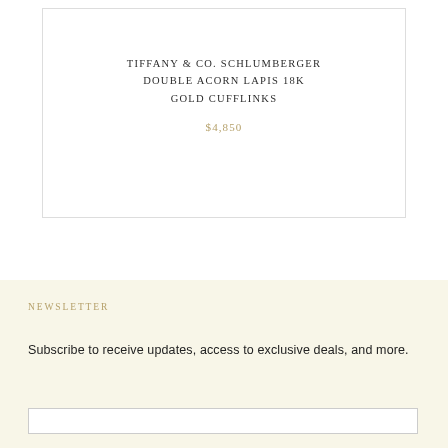TIFFANY & CO. SCHLUMBERGER DOUBLE ACORN LAPIS 18K GOLD CUFFLINKS
$4,850
NEWSLETTER
Subscribe to receive updates, access to exclusive deals, and more.